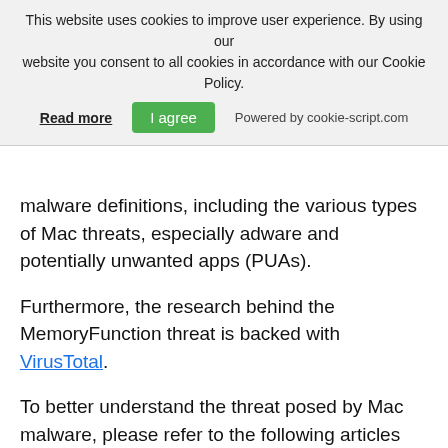This website uses cookies to improve user experience. By using our website you consent to all cookies in accordance with our Cookie Policy. Read more | I agree | Powered by cookie-script.com
malware definitions, including the various types of Mac threats, especially adware and potentially unwanted apps (PUAs).
Furthermore, the research behind the MemoryFunction threat is backed with VirusTotal.
To better understand the threat posed by Mac malware, please refer to the following articles which provide knowledgeable details.
References
1. macOS More Susceptible to Adware and PUPs than Windows
2. XLoader Malware-as-a-Service Now Available for macOS for Only $49